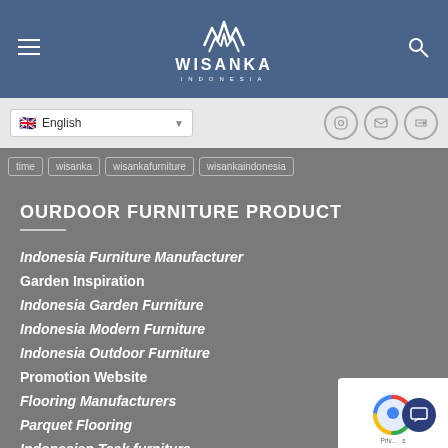Wisanka Indonesia
English
time  wisanka  wisankafurniture  wisankaindonesia
OURDOOR FURNITURE PRODUCT
Indonesia Furniture Manufacturer
Garden Inspiration
Indonesia Garden Furniture
Indonesia Modern Furniture
Indonesia Outdoor Furniture
Promotion Website
Flooring Manufacturers
Parquet Flooring
Indonesian Teak furniture